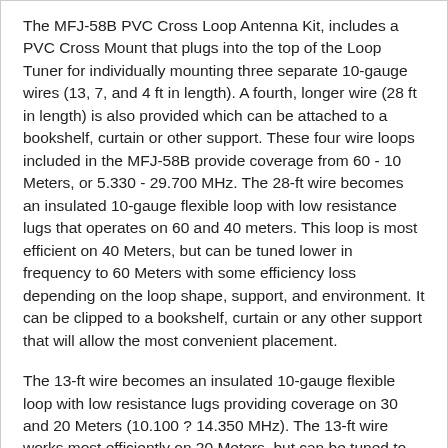The MFJ-58B PVC Cross Loop Antenna Kit, includes a PVC Cross Mount that plugs into the top of the Loop Tuner for individually mounting three separate 10-gauge wires (13, 7, and 4 ft in length). A fourth, longer wire (28 ft in length) is also provided which can be attached to a bookshelf, curtain or other support. These four wire loops included in the MFJ-58B provide coverage from 60 - 10 Meters, or 5.330 - 29.700 MHz. The 28-ft wire becomes an insulated 10-gauge flexible loop with low resistance lugs that operates on 60 and 40 meters. This loop is most efficient on 40 Meters, but can be tuned lower in frequency to 60 Meters with some efficiency loss depending on the loop shape, support, and environment. It can be clipped to a bookshelf, curtain or any other support that will allow the most convenient placement.
The 13-ft wire becomes an insulated 10-gauge flexible loop with low resistance lugs providing coverage on 30 and 20 Meters (10.100 ? 14.350 MHz). The 13-ft wire works most efficiently on 20 Meters, but can be tuned to 30 Meters with some efficiency loss depending on the loop shape, support, and environment.
The 7-ft wire becomes an insulated 10-gauge flexible loop with low resistance lugs providing coverage on 20, 17, and 15 Meters (14.000...